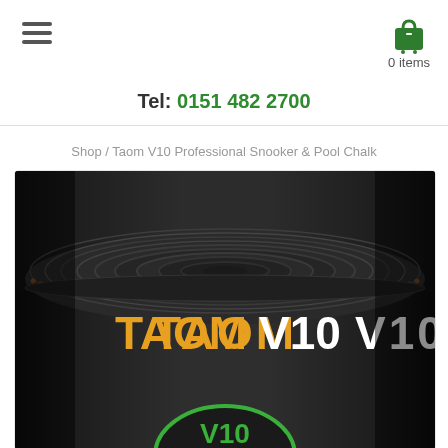hamburger menu icon | cart icon | 0 items
Tel: 0151 482 2700
Shop / Taom V10 Professional Snooker & Pool Chalk
[Figure (photo): Close-up product photo of Taom V10 snooker and pool chalk container. Dark cylindrical tin with a ridged/ripple pattern on the top lid. The side of the tin shows 'TAOM' in orange letters and 'V10' in white letters. At the bottom, a green and black V10 logo badge is partially visible.]